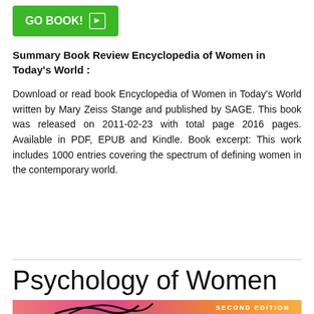[Figure (other): Green GO BOOK! button with arrow icon]
Summary Book Review Encyclopedia of Women in Today's World :
Download or read book Encyclopedia of Women in Today's World written by Mary Zeiss Stange and published by SAGE. This book was released on 2011-02-23 with total page 2016 pages. Available in PDF, EPUB and Kindle. Book excerpt: This work includes 1000 entries covering the spectrum of defining women in the contemporary world.
Psychology of Women
[Figure (photo): Bottom portion of a book cover for Psychology of Women Second Edition, showing pink/orange background with decorative curved lines and SECOND EDITION text]